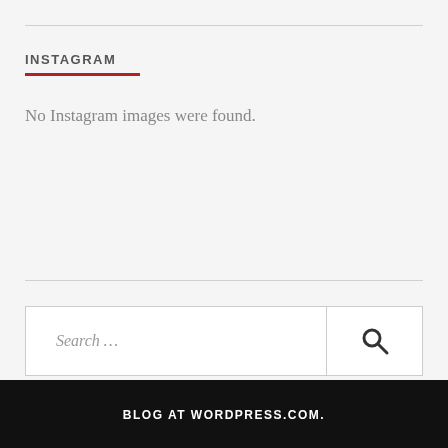INSTAGRAM
No Instagram images were found.
Search ...
BLOG AT WORDPRESS.COM.